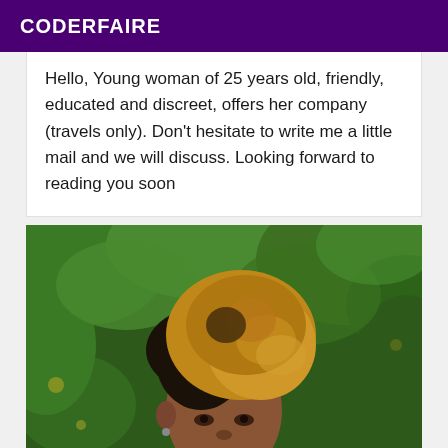CODERFAIRE
Hello, Young woman of 25 years old, friendly, educated and discreet, offers her company (travels only). Don't hesitate to write me a little mail and we will discuss. Looking forward to reading you soon
[Figure (photo): Portrait photo of a young woman with curly golden/blonde afro hair against a green leafy background, looking at the camera]